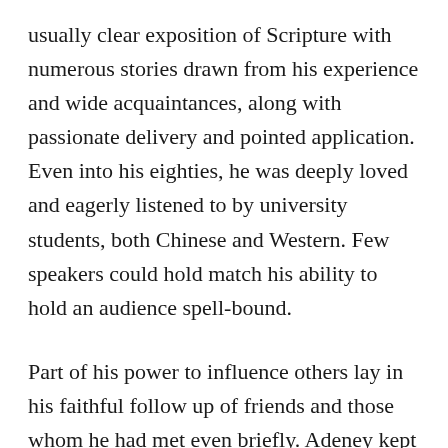usually clear exposition of Scripture with numerous stories drawn from his experience and wide acquaintances, along with passionate delivery and pointed application. Even into his eighties, he was deeply loved and eagerly listened to by university students, both Chinese and Western. Few speakers could hold match his ability to hold an audience spell-bound.
Part of his power to influence others lay in his faithful follow up of friends and those whom he had met even briefly. Adeney kept up an enormous correspondence with people all over the world, faithfully answering each letter and calling by phone when possible. Anecdotes abound about